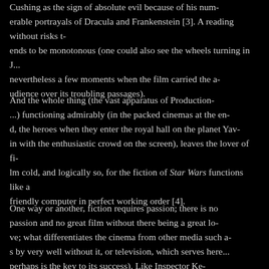Cushing as the sign of absolute evil because of his numerous portrayals of Dracula and Frankenstein [3]. A reading without risks tends to be monotonous (one could also see the wheels turning in J...); there were nevertheless a few moments when the film carried the audience over its troubling passages).
And the whole thing (the vast apparatus of Production-...) functioning admirably (in the packed cinemas at the end, the heroes when they enter the royal hall on the planet Yav... with the enthusiastic crowd on the screen), leaves the lover of fi... cold, and logically so, for the fiction of Star Wars functions like a friendly computer in perfect working order [4].
One way or another, fiction requires passion; there is no great passion and no great film without there being a great lo... what differentiates the cinema from other media such a... by very well without it, or television, which serves here... perhaps is the key to its success). Like Inspector K...